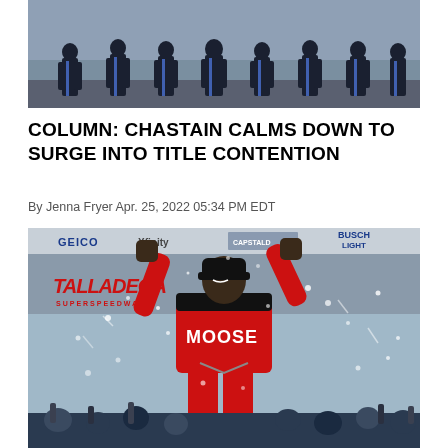[Figure (photo): Group of people in dark uniforms standing in a row, likely pit crew or team members at a NASCAR event]
COLUMN: CHASTAIN CALMS DOWN TO SURGE INTO TITLE CONTENTION
By Jenna Fryer Apr. 25, 2022 05:34 PM EDT
[Figure (photo): NASCAR driver Ross Chastain celebrating a victory at Talladega Superspeedway, wearing red MOOSE racing suit, arms raised with fists pumping, surrounded by confetti and cheering crowd. Talladega Superspeedway logo visible in background along with GEICO, Xfinity, and Busch Light sponsor banners.]